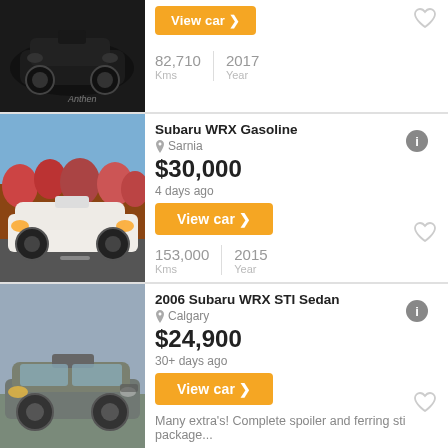[Figure (photo): Black Subaru WRX/STI front view, partial listing at top]
View car ❯
82,710 Kms | 2017 Year
[Figure (photo): White/orange Subaru WRX driving on road, autumn trees in background]
Subaru WRX Gasoline
Sarnia
$30,000
4 days ago
View car ❯
153,000 Kms | 2015 Year
[Figure (photo): Grey Subaru WRX STI Sedan side/front view]
2006 Subaru WRX STI Sedan
Calgary
$24,900
30+ days ago
View car ❯
Many extra's! Complete spoiler and ferring sti package...